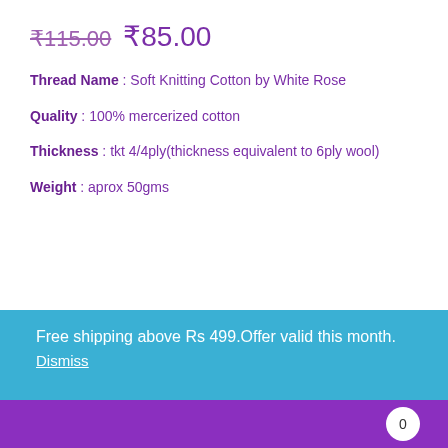₹115.00  ₹85.00
Thread Name : Soft Knitting Cotton by White Rose
Quality : 100% mercerized cotton
Thickness : tkt 4/4ply(thickness equivalent to 6ply wool)
Weight :  aprox 50gms
Free shipping above Rs 499.Offer valid this month.
Dismiss